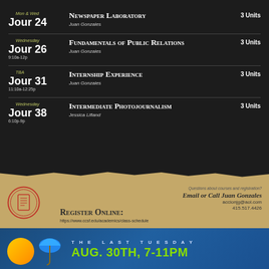Mon & Wed | Jour 24 | Newspaper Laboratory | Juan Gonzales | 3 Units
Wednesday | Jour 26 | 9:10a-12p | Fundamentals of Public Relations | Juan Gonzales | 3 Units
TBA | Jour 31 | 11:10a-12:25p | Internship Experience | Juan Gonzales | 3 Units
Wednesday | Jour 38 | 6:10p-9p | Intermediate Photojournalism | Jessica Lifland | 3 Units
Questions about courses and registration? Email or Call Juan Gonzales
accionjg@aol.com
415.517.4426
Register Online:
https://www.ccsf.edu/academics/class-schedule
[Figure (infographic): Bottom blue banner with orange slice, blue umbrella, text THE LAST TUESDAY and AUG. 30TH, 7-11PM in green]
THE LAST TUESDAY
AUG. 30TH, 7-11PM